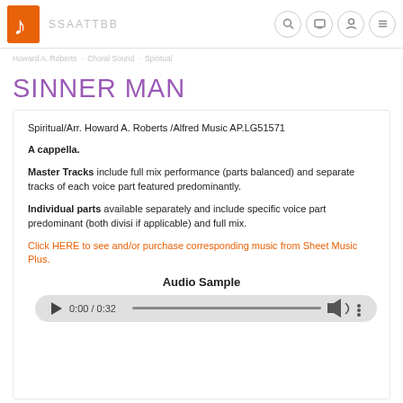SSAATTBB
SINNER MAN
Spiritual/Arr. Howard A. Roberts /Alfred Music AP.LG51571
A cappella.
Master Tracks include full mix performance (parts balanced) and separate tracks of each voice part featured predominantly.
Individual parts available separately and include specific voice part predominant (both divisi if applicable) and full mix.
Click HERE to see and/or purchase corresponding music from Sheet Music Plus.
Audio Sample
[Figure (other): Audio player showing 0:00 / 0:32 with play button, progress bar, volume, and more options]